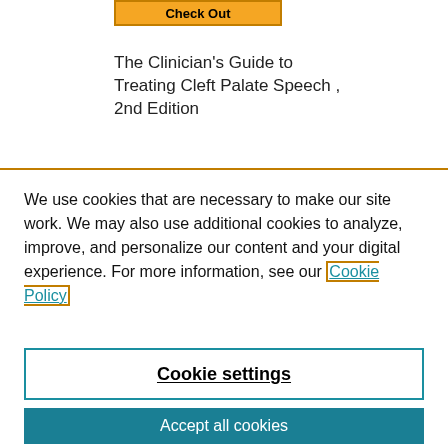[Figure (other): Orange 'Check Out' button with dark border]
The Clinician's Guide to Treating Cleft Palate Speech , 2nd Edition
We use cookies that are necessary to make our site work. We may also use additional cookies to analyze, improve, and personalize our content and your digital experience. For more information, see our Cookie Policy
Cookie settings
Accept all cookies